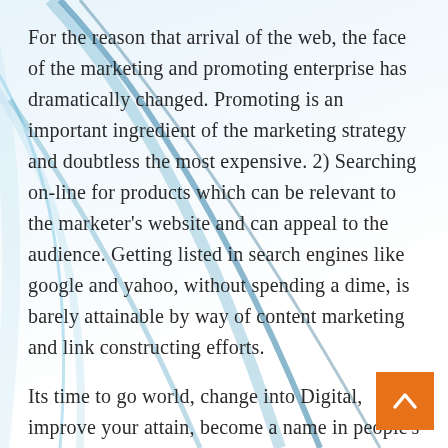For the reason that arrival of the web, the face of the marketing and promoting enterprise has dramatically changed. Promoting is an important ingredient of the marketing strategy and doubtless the most expensive. 2) Searching on-line for products which can be relevant to the marketer's website and can appeal to the audience. Getting listed in search engines like google and yahoo, without spending a dime, is barely attainable by way of content marketing and link constructing efforts.
Its time to go world, change into Digital, improve your attain, become a name in people's thoughts. The significance of conventional marketing can't be lessened but it is also a fact that having the very best online presence of your brand is necessary too, it means that you can explore multiple audience targeting avenues.